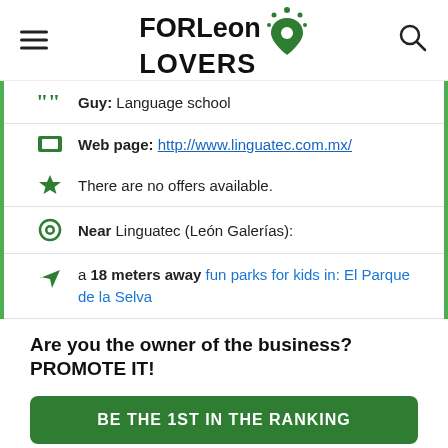FORLeon LOVERS
Guy: Language school
Web page: http://www.linguatec.com.mx/
There are no offers available.
Near Linguatec (León Galerías):
a 18 meters away fun parks for kids in: El Parque de la Selva
Are you the owner of the business? PROMOTE IT!
BE THE 1ST IN THE RANKING
EXCLUSIVE PAGE